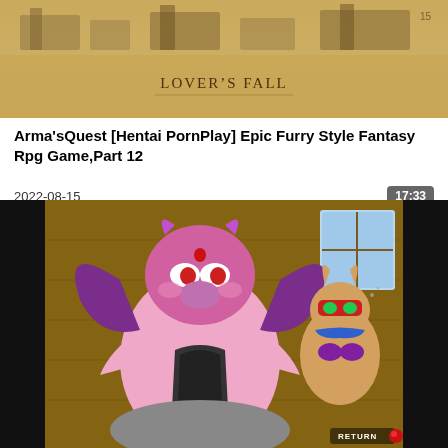[Figure (screenshot): Screenshot from a video game showing text 'Lover's Fall' on a tan/parchment colored background with buildings]
Arma'sQuest [Hentai PornPlay] Epic Furry Style Fantasy Rpg Game,Part 12
2022-08-15
17:33
[Figure (screenshot): Screenshot from animated furry style fantasy RPG game showing cartoon characters]